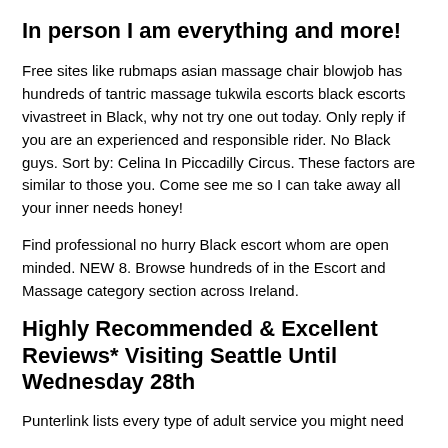In person I am everything and more!
Free sites like rubmaps asian massage chair blowjob has hundreds of tantric massage tukwila escorts black escorts vivastreet in Black, why not try one out today. Only reply if you are an experienced and responsible rider. No Black guys. Sort by: Celina In Piccadilly Circus. These factors are similar to those you. Come see me so I can take away all your inner needs honey!
Find professional no hurry Black escort whom are open minded. NEW 8. Browse hundreds of in the Escort and Massage category section across Ireland.
Highly Recommended & Excellent Reviews* Visiting Seattle Until Wednesday 28th
Punterlink lists every type of adult service you might need